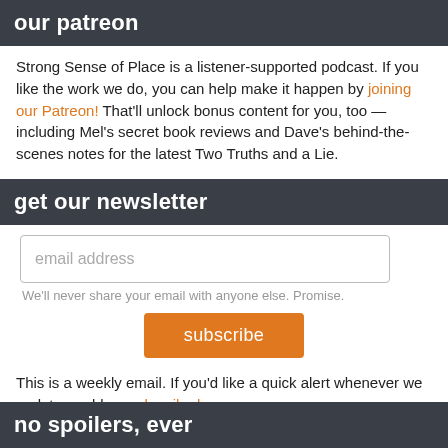our patreon
Strong Sense of Place is a listener-supported podcast. If you like the work we do, you can help make it happen by joining our Patreon! That'll unlock bonus content for you, too — including Mel's secret book reviews and Dave's behind-the-scenes notes for the latest Two Truths and a Lie.
get our newsletter
email address
We'll never share your email with anyone else. Promise.
subscribe
This is a weekly email. If you'd like a quick alert whenever we update our blog, subscribe here.
no spoilers, ever